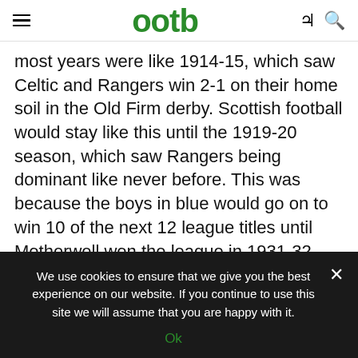ootb
most years were like 1914-15, which saw Celtic and Rangers win 2-1 on their home soil in the Old Firm derby. Scottish football would stay like this until the 1919-20 season, which saw Rangers being dominant like never before. This was because the boys in blue would go on to win 10 of the next 12 league titles until Motherwell won the league in 1931-32. And Rangers began to dominate the head to head matchups against Celtic as well. ‘Gers would end up winning 9 out of the 10 meetings they had with Celtic going from 1925-26 to 1929-30.
We use cookies to ensure that we give you the best experience on our website. If you continue to use this site we will assume that you are happy with it.
Ok